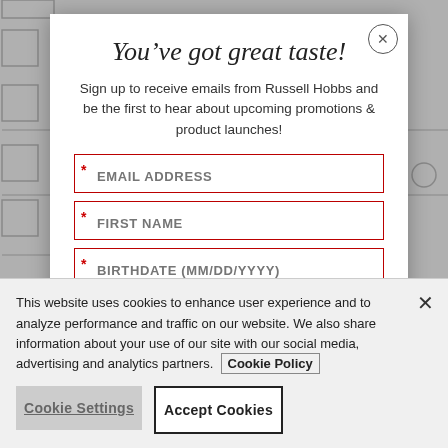You've got great taste!
Sign up to receive emails from Russell Hobbs and be the first to hear about upcoming promotions & product launches!
* EMAIL ADDRESS
* FIRST NAME
* BIRTHDATE (MM/DD/YYYY)
This website uses cookies to enhance user experience and to analyze performance and traffic on our website. We also share information about your use of our site with our social media, advertising and analytics partners. Cookie Policy
Cookie Settings
Accept Cookies